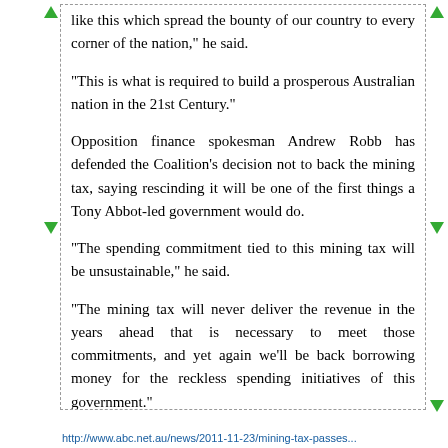like this which spread the bounty of our country to every corner of the nation," he said.
"This is what is required to build a prosperous Australian nation in the 21st Century."
Opposition finance spokesman Andrew Robb has defended the Coalition's decision not to back the mining tax, saying rescinding it will be one of the first things a Tony Abbot-led government would do.
"The spending commitment tied to this mining tax will be unsustainable," he said.
"The mining tax will never deliver the revenue in the years ahead that is necessary to meet those commitments, and yet again we'll be back borrowing money for the reckless spending initiatives of this government."
http://www.abc.net.au/news/2011-11-23/mining-tax-passes...